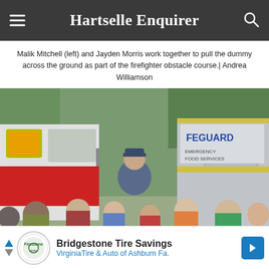Hartselle Enquirer
Malik Mitchell (left) and Jayden Morris work together to pull the dummy across the ground as part of the firefighter obstacle course.| Andrea Williamson
[Figure (photo): A man in a cap and uniform stands between two large fire/emergency vehicles (red and white on left, gray and yellow on right) speaking to a group of children gathered in front of him. Trees are visible in the background.]
[Figure (other): Advertisement banner: Bridgestone Tire Savings - Virginia Tire & Auto of Ashburn Fa. with logo and blue arrow icon.]